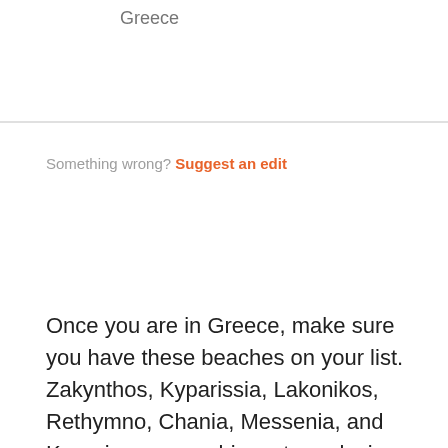Greece
Something wrong? Suggest an edit
Once you are in Greece, make sure you have these beaches on your list. Zakynthos, Kyparissia, Lakonikos, Rethymno, Chania, Messenia, and Koroni are seven biggest egg-laying destinations for turtles.